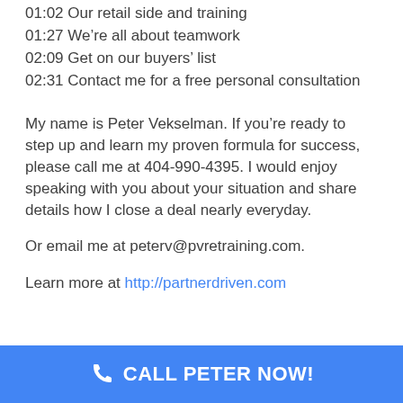01:02 Our retail side and training
01:27 We're all about teamwork
02:09 Get on our buyers' list
02:31 Contact me for a free personal consultation
My name is Peter Vekselman. If you're ready to step up and learn my proven formula for success, please call me at 404-990-4395. I would enjoy speaking with you about your situation and share details how I close a deal nearly everyday.
Or email me at peterv@pvretraining.com.
Learn more at http://partnerdriven.com
CALL PETER NOW!